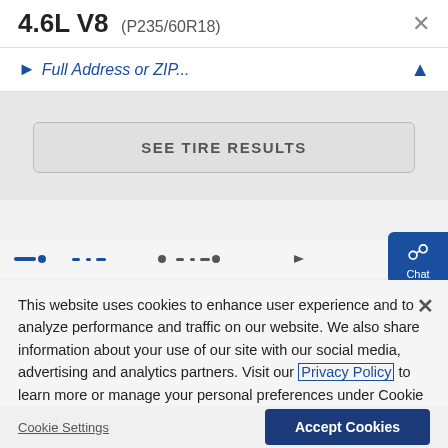4.6L V8 (P235/60R18)
▶ Full Address or ZIP...
SEE TIRE RESULTS
[Figure (screenshot): Navigation/slider dots bar]
[Figure (screenshot): Chat button with speech bubble icon and 'Chat' label]
This website uses cookies to enhance user experience and to analyze performance and traffic on our website. We also share information about your use of our site with our social media, advertising and analytics partners. Visit our Privacy Policy to learn more or manage your personal preferences under Cookie Settings.
Cookie Settings
Accept Cookies